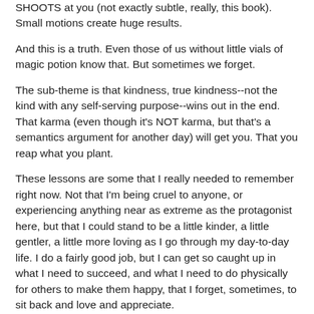SHOOTS at you (not exactly subtle, really, this book). Small motions create huge results.
And this is a truth. Even those of us without little vials of magic potion know that. But sometimes we forget.
The sub-theme is that kindness, true kindness--not the kind with any self-serving purpose--wins out in the end. That karma (even though it's NOT karma, but that's a semantics argument for another day) will get you. That you reap what you plant.
These lessons are some that I really needed to remember right now. Not that I'm being cruel to anyone, or experiencing anything near as extreme as the protagonist here, but that I could stand to be a little kinder, a little gentler, a little more loving as I go through my day-to-day life. I do a fairly good job, but I can get so caught up in what I need to succeed, and what I need to do physically for others to make them happy, that I forget, sometimes, to sit back and love and appreciate.
I need to be more in touch in this regard, I feel. S...